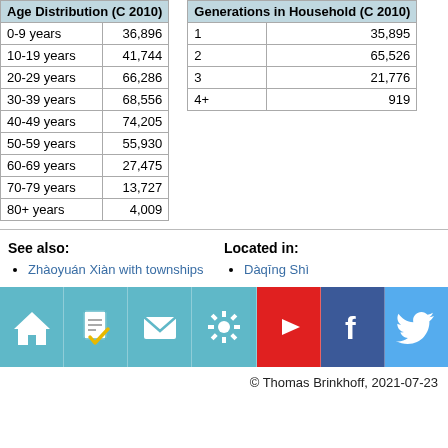| Age Distribution (C 2010) |  |
| --- | --- |
| 0-9 years | 36,896 |
| 10-19 years | 41,744 |
| 20-29 years | 66,286 |
| 30-39 years | 68,556 |
| 40-49 years | 74,205 |
| 50-59 years | 55,930 |
| 60-69 years | 27,475 |
| 70-79 years | 13,727 |
| 80+ years | 4,009 |
| Generations in Household (C 2010) |  |
| --- | --- |
| 1 | 35,895 |
| 2 | 65,526 |
| 3 | 21,776 |
| 4+ | 919 |
See also:
Zhàoyuán Xiàn with townships
Located in:
Dàqīng Shì
[Figure (infographic): Icon bar with home, checklist, email, settings, YouTube play button, Facebook, and Twitter icons]
© Thomas Brinkhoff, 2021-07-23